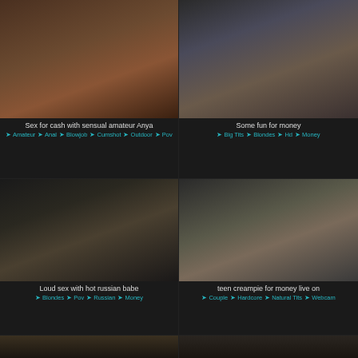[Figure (photo): Thumbnail image for adult video: Sex for cash with sensual amateur Anya]
Sex for cash with sensual amateur Anya
Amateur  Anal  Blowjob  Cumshot  Outdoor  Pov
[Figure (photo): Thumbnail image for adult video: Some fun for money]
Some fun for money
Big Tits  Blondes  Hd  Money
[Figure (photo): Thumbnail image for adult video: Loud sex with hot russian babe]
Loud sex with hot russian babe
Blondes  Pov  Russian  Money
[Figure (photo): Thumbnail image for adult video: teen creampie for money live on]
teen creampie for money live on
Couple  Hardcore  Natural Tits  Webcam